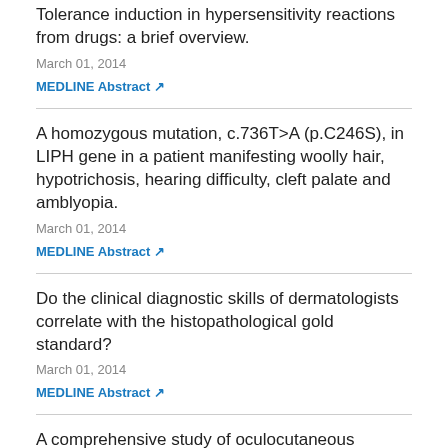Tolerance induction in hypersensitivity reactions from drugs: a brief overview.
March 01, 2014
MEDLINE Abstract ↗
A homozygous mutation, c.736T>A (p.C246S), in LIPH gene in a patient manifesting woolly hair, hypotrichosis, hearing difficulty, cleft palate and amblyopia.
March 01, 2014
MEDLINE Abstract ↗
Do the clinical diagnostic skills of dermatologists correlate with the histopathological gold standard?
March 01, 2014
MEDLINE Abstract ↗
A comprehensive study of oculocutaneous albinism type 1 reveals three previously unidentified alleles on